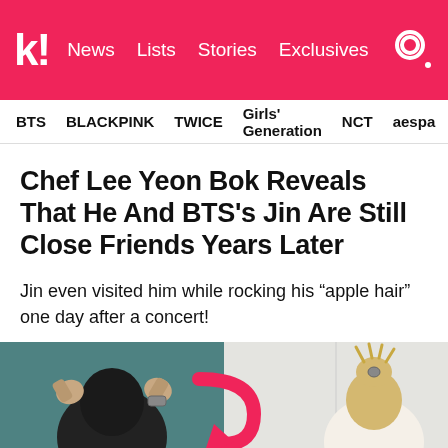k! News Lists Stories Exclusives
BTS   BLACKPINK   TWICE   Girls' Generation   NCT   aespa
Chef Lee Yeon Bok Reveals That He And BTS's Jin Are Still Close Friends Years Later
Jin even visited him while rocking his “apple hair” one day after a concert!
[Figure (photo): Left side shows a person with dark hair from behind pressing fists to head; right side shows a person with blonde hair tied up in a bun from behind, with a pink arrow pointing from left image to right image.]